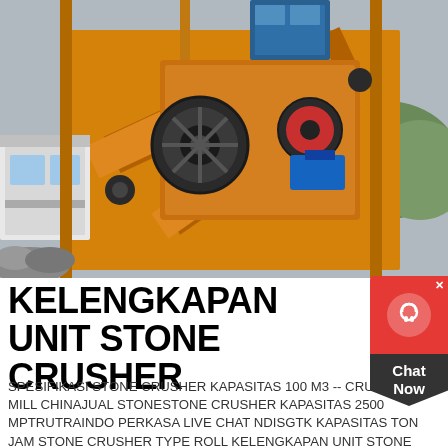[Figure (photo): Large yellow industrial stone crusher machinery with conveyor belts, a small white control cabin on the left, and a blue structure at the top. Photographed outdoors against a cloudy sky with mountains in the background.]
KELENGKAPAN UNIT STONE CRUSHER
SPESIFIKASI STONE CRUSHER KAPASITAS 100 M3 -- CRUSHER MILL CHINAJUAL STONESTONE CRUSHER KAPASITAS 2500 MPTRUTRAINDO PERKASA LIVE CHAT NDISGTK KAPASITAS TON JAM STONE CRUSHER TYPE ROLL KELENGKAPAN UNIT STONE CRUSHER COAL RUSSIAN SATU SET STONE CRUSHER
GET PRICE
[Figure (photo): Bottom partial image showing yellow industrial machinery, similar stone crusher equipment.]